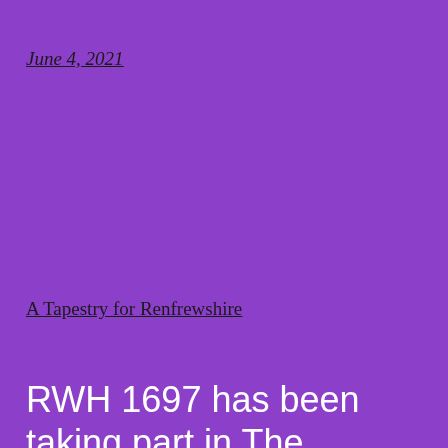June 4, 2021
A Tapestry for Renfrewshire
RWH 1697 has been taking part in The Tapestry of Renfrewshire